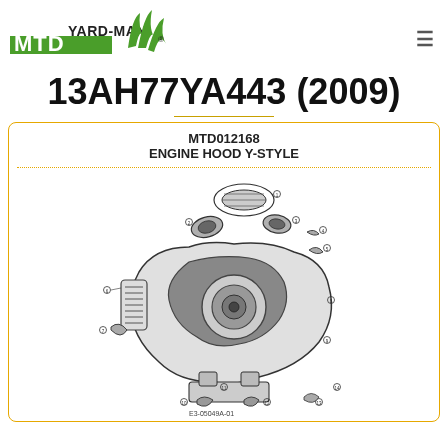[Figure (logo): MTD YARD-MAN logo with green grass graphic]
13AH77YA443 (2009)
MTD012168
ENGINE HOOD Y-STYLE
[Figure (engineering-diagram): Exploded view diagram of Engine Hood Y-Style assembly with numbered parts callouts. Reference E3-05049A-01.]